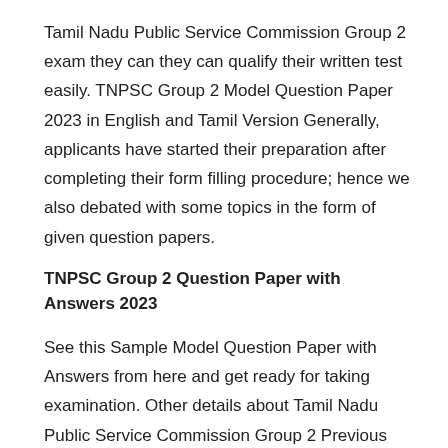Tamil Nadu Public Service Commission Group 2 exam they can they can qualify their written test easily. TNPSC Group 2 Model Question Paper 2023 in English and Tamil Version Generally, applicants have started their preparation after completing their form filling procedure; hence we also debated with some topics in the form of given question papers.
TNPSC Group 2 Question Paper with Answers 2023
See this Sample Model Question Paper with Answers from here and get ready for taking examination. Other details about Tamil Nadu Public Service Commission Group 2 Previous Year Question Paper with Answers are mentioned in the below section. One needs to have good knowledge of the following topics to crack this Examination.
General Knowledge